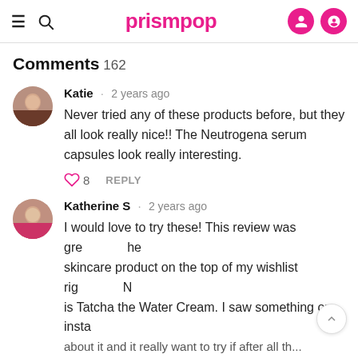prismpop
Comments 162
Katie · 2 years ago
Never tried any of these products before, but they all look really nice!! The Neutrogena serum capsules look really interesting.
8 REPLY
Katherine S · 2 years ago
I would love to try these! This review was gre he skincare product on the top of my wishlist rig N is Tatcha the Water Cream. I saw something on insta about it and it really want to try if after all the...